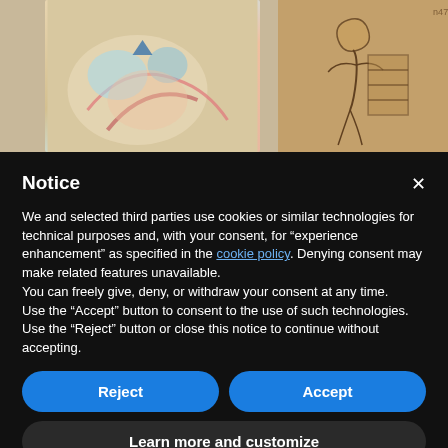[Figure (illustration): Two artwork images side by side on a tan/beige background. Left image shows a colorful watercolor-style illustration with blues, pinks and reds. Right image shows a brown-toned sketch/drawing of a figure.]
Notice
We and selected third parties use cookies or similar technologies for technical purposes and, with your consent, for “experience enhancement” as specified in the cookie policy. Denying consent may make related features unavailable.
You can freely give, deny, or withdraw your consent at any time.
Use the “Accept” button to consent to the use of such technologies. Use the “Reject” button or close this notice to continue without accepting.
Reject
Accept
Learn more and customize